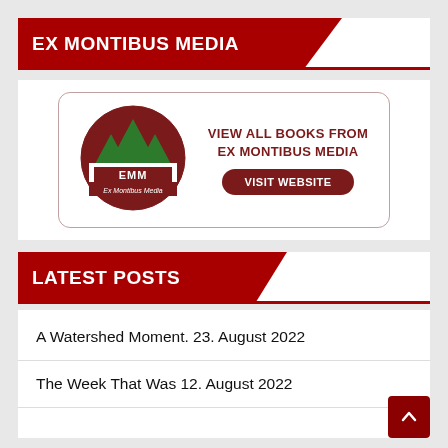EX MONTIBUS MEDIA
[Figure (logo): Ex Montibus Media logo card with circular dark red logo featuring green mountains and EMM text, beside text 'VIEW ALL BOOKS FROM EX MONTIBUS MEDIA' and a dark red 'VISIT WEBSITE' button]
LATEST POSTS
A Watershed Moment. 23. August 2022
The Week That Was 12. August 2022